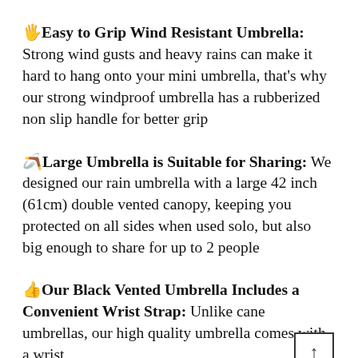🖐Easy to Grip Wind Resistant Umbrella: Strong wind gusts and heavy rains can make it hard to hang onto your mini umbrella, that's why our strong windproof umbrella has a rubberized non slip handle for better grip
🪃Large Umbrella is Suitable for Sharing: We designed our rain umbrella with a large 42 inch (61cm) double vented canopy, keeping you protected on all sides when used solo, but also big enough to share for up to 2 people
👍Our Black Vented Umbrella Includes a Convenient Wrist Strap: Unlike cane umbrellas, our high quality umbrella comes with a wrist